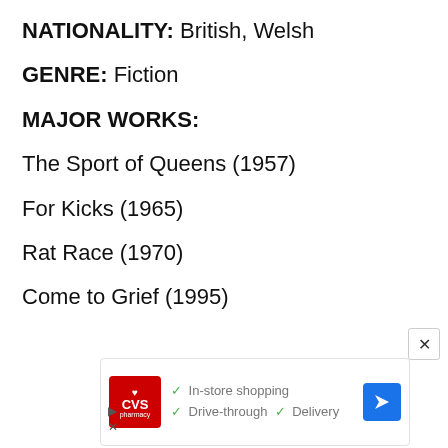NATIONALITY: British, Welsh
GENRE: Fiction
MAJOR WORKS:
The Sport of Queens (1957)
For Kicks (1965)
Rat Race (1970)
Come to Grief (1995)
[Figure (screenshot): CVS Pharmacy advertisement banner showing store services: In-store shopping, Drive-through, Delivery, with a navigation icon]